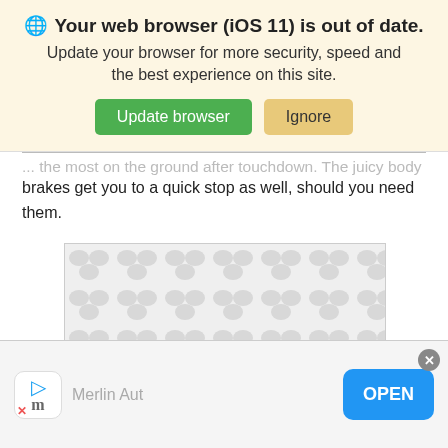Your web browser (iOS 11) is out of date. Update your browser for more security, speed and the best experience on this site. Update browser | Ignore
... brakes get you to a quick stop as well, should you need them.
[Figure (other): Advertisement placeholder banner with circular pattern background]
ADVERTISEMENT
At the ship, the Rhino wins the landing competition easily.
Merlin Aut  OPEN